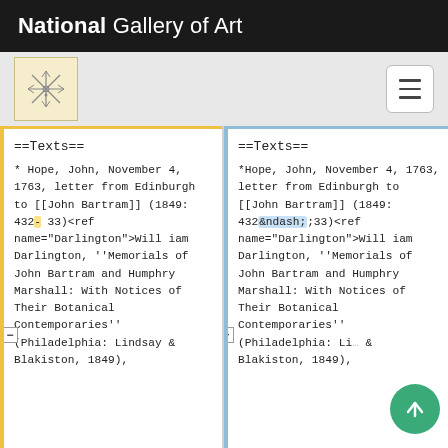National Gallery of Art
[Figure (logo): National Gallery of Art logo - decorative snowflake/asterisk motif on cream background]
==Texts==
* Hope, John, November 4, 1763, letter from Edinburgh to [[John Bartram]] (1849: 432-33)<ref name="Darlington">William Darlington, ''Memorials of John Bartram and Humphry Marshall: With Notices of Their Botanical Contemporaries'' (Philadelphia: Lindsay & Blakiston, 1849),
==Texts==
*Hope, John, November 4, 1763, letter from Edinburgh to [[John Bartram]] (1849: 432&ndash;33)<ref name="Darlington">William Darlington, ''Memorials of John Bartram and Humphry Marshall: With Notices of Their Botanical Contemporaries'' (Philadelphia: Lindsay & Blakiston, 1849),